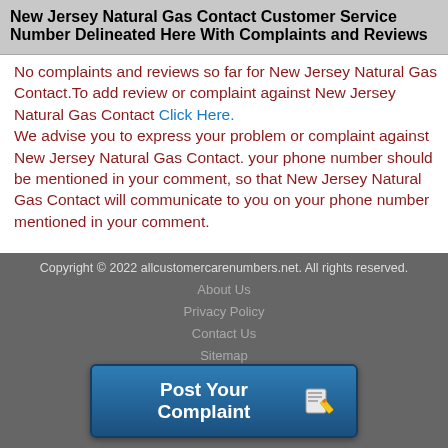New Jersey Natural Gas Contact Customer Service Number Delineated Here With Complaints and Reviews
No complaints and reviews so far for New Jersey Natural Gas Contact.To add review or complaint against New Jersey Natural Gas Contact Click Here.
We advise you to express your problem or complaint against New Jersey Natural Gas Contact. your phone number should be mentioned in your comment, so that New Jersey Natural Gas Contact will communicate to you on your phone number mentioned in your comment.
Copyright © 2022 allcustomercarenumbers.net. All rights reserved.
About Us
Privacy Policy
Contact Us
Sitemap
[Figure (other): Post Your Complaint button with pencil icon, dark blue gradient background]